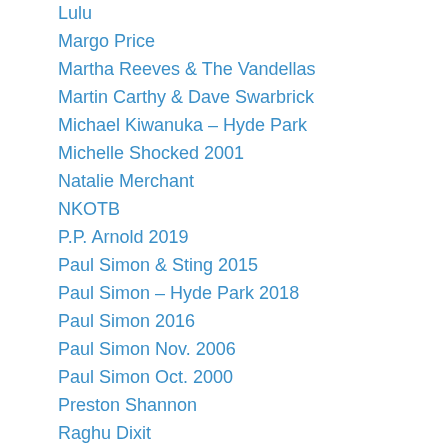Lulu
Margo Price
Martha Reeves & The Vandellas
Martin Carthy & Dave Swarbrick
Michael Kiwanuka – Hyde Park
Michelle Shocked 2001
Natalie Merchant
NKOTB
P.P. Arnold 2019
Paul Simon & Sting 2015
Paul Simon – Hyde Park 2018
Paul Simon 2016
Paul Simon Nov. 2006
Paul Simon Oct. 2000
Preston Shannon
Raghu Dixit
Raghu Dixit
Ralph McTell 2016
Richard Thompson 2017
Rita Coolidge